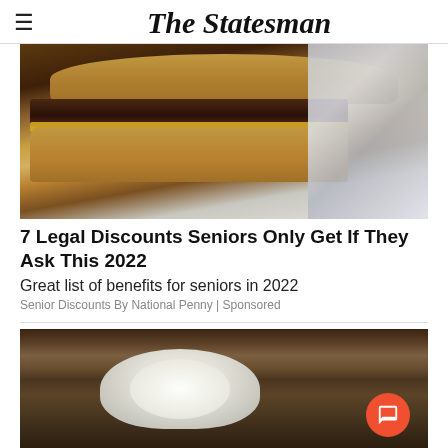The Statesman
[Figure (photo): Close-up photo of a double cheeseburger with melted yellow cheese and sesame bun, wrapped in foil]
7 Legal Discounts Seniors Only Get If They Ask This 2022
Great list of benefits for seniors in 2022
Senior Discounts By National Penny | Sponsored
[Figure (photo): Photo of cauliflower on a dark wooden surface with a spoon]